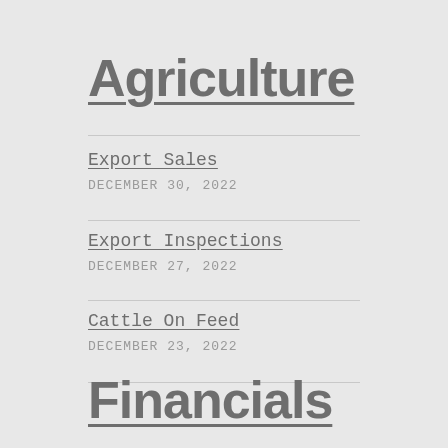Agriculture
Export Sales
DECEMBER 30, 2022
Export Inspections
DECEMBER 27, 2022
Cattle On Feed
DECEMBER 23, 2022
Financials